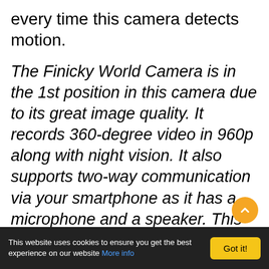every time this camera detects motion.
The Finicky World Camera is in the 1st position in this camera due to its great image quality. It records 360-degree video in 960p along with night vision. It also supports two-way communication via your smartphone as it has a microphone and a speaker. This camera can record video for a long time as it supports 128 GB of memory via a micro SD card.
Best Features: 960p recording, 360-degree video, smartphone app, inbuilt WiFi for IP camera function, motion detection sensor, tw
This website uses cookies to ensure you get the best experience on our website More info | Got it!